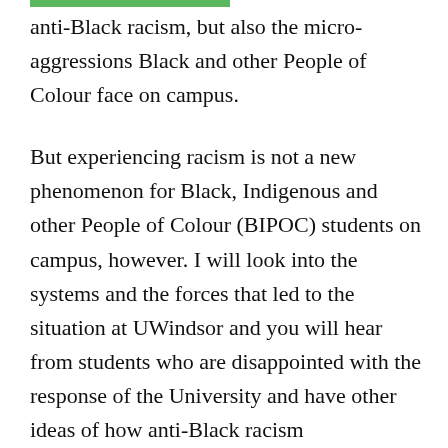anti-Black racism, but also the micro-aggressions Black and other People of Colour face on campus.
But experiencing racism is not a new phenomenon for Black, Indigenous and other People of Colour (BIPOC) students on campus, however. I will look into the systems and the forces that led to the situation at UWindsor and you will hear from students who are disappointed with the response of the University and have other ideas of how anti-Black racism